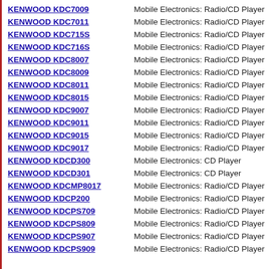KENWOOD KDC7009 | Mobile Electronics: Radio/CD Player
KENWOOD KDC7011 | Mobile Electronics: Radio/CD Player
KENWOOD KDC715S | Mobile Electronics: Radio/CD Player
KENWOOD KDC716S | Mobile Electronics: Radio/CD Player
KENWOOD KDC8007 | Mobile Electronics: Radio/CD Player
KENWOOD KDC8009 | Mobile Electronics: Radio/CD Player
KENWOOD KDC8011 | Mobile Electronics: Radio/CD Player
KENWOOD KDC8015 | Mobile Electronics: Radio/CD Player
KENWOOD KDC9007 | Mobile Electronics: Radio/CD Player
KENWOOD KDC9011 | Mobile Electronics: Radio/CD Player
KENWOOD KDC9015 | Mobile Electronics: Radio/CD Player
KENWOOD KDC9017 | Mobile Electronics: Radio/CD Player
KENWOOD KDCD300 | Mobile Electronics: CD Player
KENWOOD KDCD301 | Mobile Electronics: CD Player
KENWOOD KDCMP8017 | Mobile Electronics: Radio/CD Player
KENWOOD KDCP200 | Mobile Electronics: Radio/CD Player
KENWOOD KDCPS709 | Mobile Electronics: Radio/CD Player
KENWOOD KDCPS809 | Mobile Electronics: Radio/CD Player
KENWOOD KDCPS907 | Mobile Electronics: Radio/CD Player
KENWOOD KDCPS909 | Mobile Electronics: Radio/CD Player